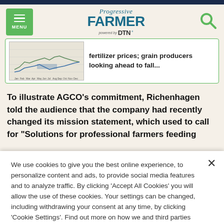Progressive FARMER powered by DTN
[Figure (screenshot): Thumbnail image of a line chart showing fertilizer prices data with month labels on x-axis]
fertilizer prices; grain producers looking ahead to fall...
To illustrate AGCO's commitment, Richenhagen told the audience that the company had recently changed its mission statement, which used to call for "Solutions for professional farmers feeding
We use cookies to give you the best online experience, to personalize content and ads, to provide social media features and to analyze traffic. By clicking 'Accept All Cookies' you will allow the use of these cookies. Your settings can be changed, including withdrawing your consent at any time, by clicking 'Cookie Settings'. Find out more on how we and third parties use cookies in our Cookie Policy
Cookies Settings
Accept All Cookies